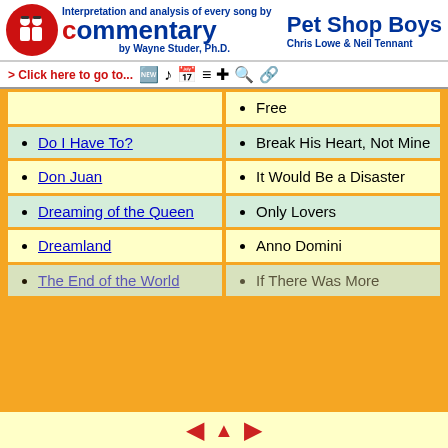Interpretation and analysis of every song by Commentary by Wayne Studer, Ph.D. Pet Shop Boys Chris Lowe & Neil Tennant
> Click here to go to...
Free
Do I Have To?
Break His Heart, Not Mine
Don Juan
It Would Be a Disaster
Dreaming of the Queen
Only Lovers
Dreamland
Anno Domini
The End of the World
If There Was More
◄ ▲ ►